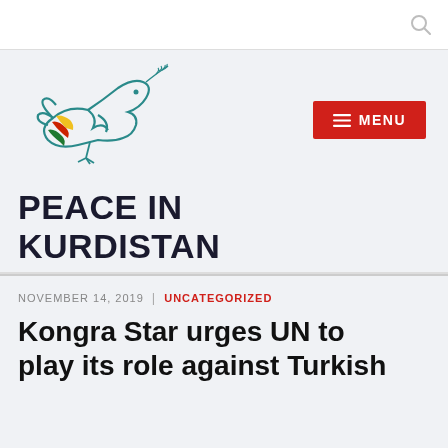[Figure (logo): Peace in Kurdistan dove logo with colored stripes (yellow, red, green) and olive branch]
PEACE IN KURDISTAN
NOVEMBER 14, 2019 | UNCATEGORIZED
Kongra Star urges UN to play its role against Turkish